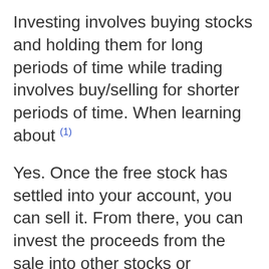Investing involves buying stocks and holding them for long periods of time while trading involves buy/selling for shorter periods of time. When learning about (1)
Yes. Once the free stock has settled into your account, you can sell it. From there, you can invest the proceeds from the sale into other stocks or withdraw (2)...
Shorting (sometimes referred to as “short selling”) is a trading strategy in which you sell shares of a stock that you